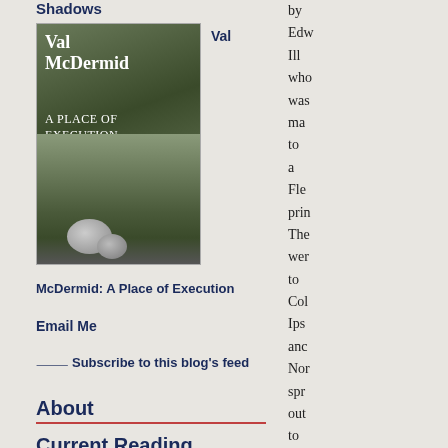Shadows
[Figure (photo): Book cover of Val McDermid A Place of Execution with moorland landscape]
Val
McDermid: A Place of Execution
Email Me
Subscribe to this blog's feed
About
Current Reading
[Figure (photo): Book cover partial view]
Tom
by
Edw
Ill
who
was
ma
to
a
Fle
prin
The
wer
to
Col
Ips
anc
Nor
spr
out
to
Har
Su
anc